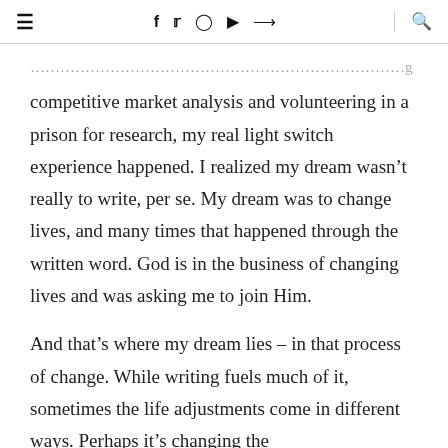≡   f  ⊕  ▶  ⊂   🔍
competitive market analysis and volunteering in a prison for research, my real light switch experience happened. I realized my dream wasn't really to write, per se. My dream was to change lives, and many times that happened through the written word. God is in the business of changing lives and was asking me to join Him.

And that's where my dream lies – in that process of change. While writing fuels much of it, sometimes the life adjustments come in different ways. Perhaps it's changing the